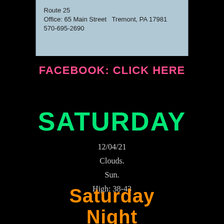[Figure (screenshot): Light blue-gray header image showing address text: Route 25, Office: 65 Main Street Tremont, PA 17981, 570-695-2690]
Route 25
Office: 65 Main Street  Tremont, PA 17981
570-695-2690
FACEBOOK: CLICK HERE
SATURDAY
12/04/21
Clouds.
Sun.
High: 38-43
Saturday Night
Clear.
Low: 25-30